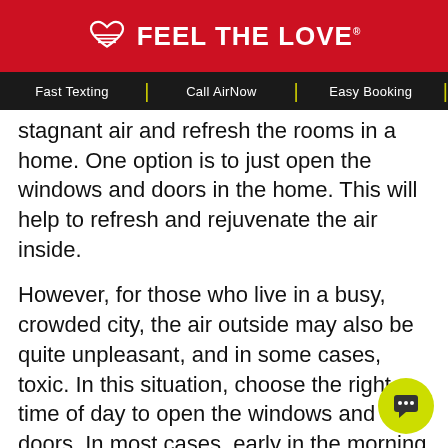FEEL THE LOVE
Fast Texting | Call AirNow | Easy Booking
stagnant air and refresh the rooms in a home. One option is to just open the windows and doors in the home. This will help to refresh and rejuvenate the air inside.
However, for those who live in a busy, crowded city, the air outside may also be quite unpleasant, and in some cases, toxic. In this situation, choose the right time of day to open the windows and doors. In most cases, early in the morning or later in the evening when traffic levels are minimal is best.